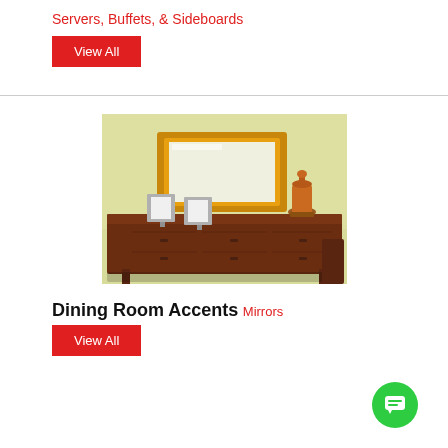Servers, Buffets, & Sideboards
View All
[Figure (photo): A wooden sideboard/buffet with two silver photo frames and a decorative orange urn on top, with a gold ornate mirror on a pale yellow wall behind it.]
Dining Room Accents
Mirrors
View All